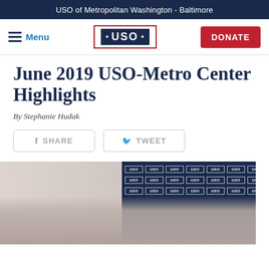USO of Metropolitan Washington - Baltimore
[Figure (logo): USO logo with stars in a bordered box, flanked by Menu button and DONATE button in navigation bar]
June 2019 USO-Metro Center Highlights
By Stephanie Hudak
[Figure (infographic): Social share buttons: Facebook SHARE and Twitter TWEET]
[Figure (photo): Group photo of approximately 10 women standing in front of a USO branded step-and-repeat banner backdrop with repeated USO logos]